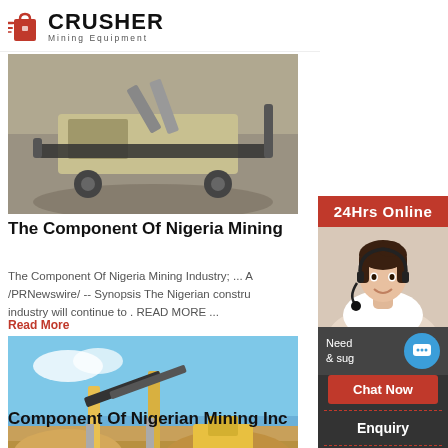CRUSHER Mining Equipment
[Figure (photo): Mining crusher equipment in a quarry site, aerial/side view]
The Component Of Nigeria Mining
The Component Of Nigeria Mining Industry; ... A /PRNewswire/ -- Synopsis The Nigerian constru industry will continue to . READ MORE ...
Read More
[Figure (photo): Mining conveyor belt equipment at a quarry site]
Component Of Nigerian Mining Ind
[Figure (infographic): 24Hrs Online sidebar with chat agent photo, chat now button, enquiry section, and email limingjlmofen@sina.com]